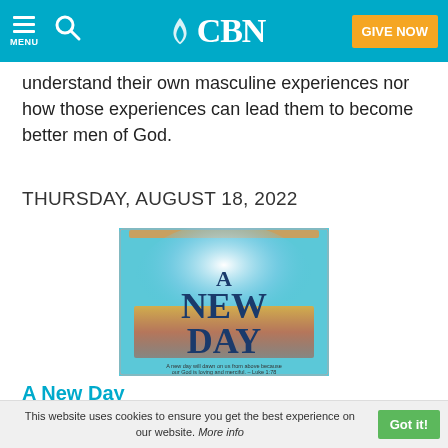CBN - GIVE NOW
understand their own masculine experiences nor how those experiences can lead them to become better men of God.
THURSDAY, AUGUST 18, 2022
[Figure (illustration): Book cover for 'A New Day' with blue background and orange/gold sunrise gradient, text reads 'A NEW DAY' and a Bible verse from Luke 1:78]
A New Day
The most important decision you can ever make is to accept Jesus as your Lord and
This website uses cookies to ensure you get the best experience on our website. More info  Got it!